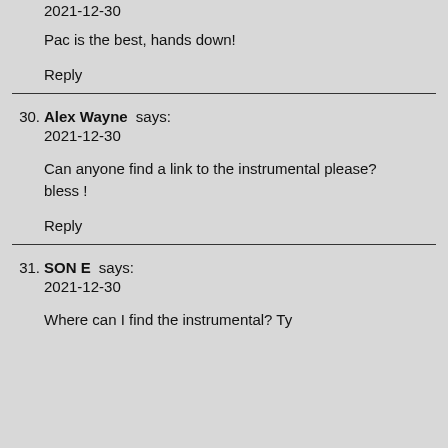2021-12-30
Pac is the best, hands down!
Reply
30. Alex Wayne says:
2021-12-30
Can anyone find a link to the instrumental please? bless !
Reply
31. SON E says:
2021-12-30
Where can I find the instrumental? Ty